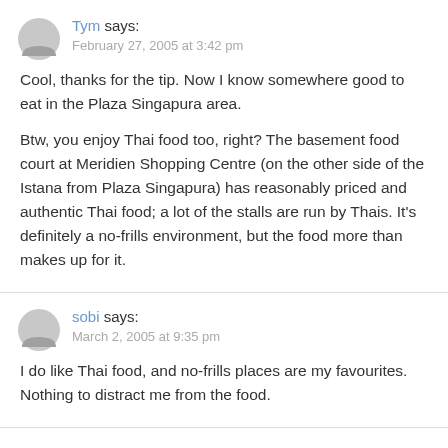Tym says:
February 27, 2005 at 3:42 pm
Cool, thanks for the tip. Now I know somewhere good to eat in the Plaza Singapura area.

Btw, you enjoy Thai food too, right? The basement food court at Meridien Shopping Centre (on the other side of the Istana from Plaza Singapura) has reasonably priced and authentic Thai food; a lot of the stalls are run by Thais. It's definitely a no-frills environment, but the food more than makes up for it.
sobi says:
March 2, 2005 at 9:35 pm
I do like Thai food, and no-frills places are my favourites. Nothing to distract me from the food.